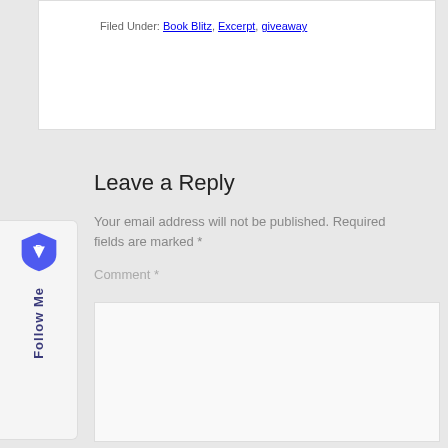Filed Under: Book Blitz, Excerpt, giveaway
Leave a Reply
Your email address will not be published. Required fields are marked *
Comment *
[Figure (other): Follow Me sidebar widget with Brave browser shield logo and vertical 'Follow Me' text]